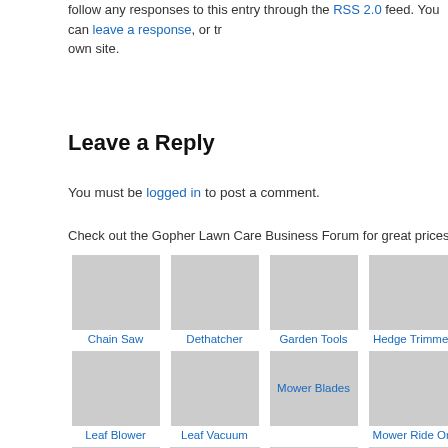follow any responses to this entry through the RSS 2.0 feed. You can leave a response, or tr... own site.
Leave a Reply
You must be logged in to post a comment.
Check out the Gopher Lawn Care Business Forum for great prices on new and used lawn care...
[Figure (photo): Grid of lawn care product images with labels: Chain Saw, Dethatcher, Garden Tools, Hedge Trimmer, (partial), Leaf Blower, Leaf Vacuum, Mower Blades, Mower Ride On, Mo..., Multi Attachment Trimmers, Pole Saw, Pressure Washer, Salt Sand Spreader, (partial)]